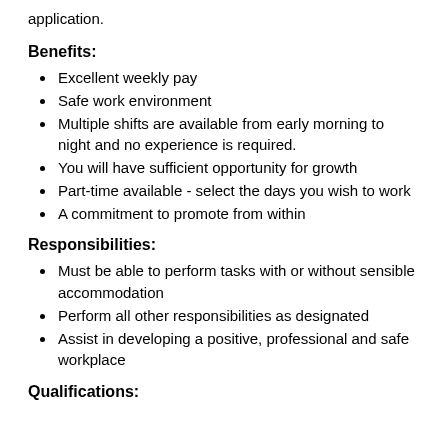application.
Benefits:
Excellent weekly pay
Safe work environment
Multiple shifts are available from early morning to night and no experience is required.
You will have sufficient opportunity for growth
Part-time available - select the days you wish to work
A commitment to promote from within
Responsibilities:
Must be able to perform tasks with or without sensible accommodation
Perform all other responsibilities as designated
Assist in developing a positive, professional and safe workplace
Qualifications: